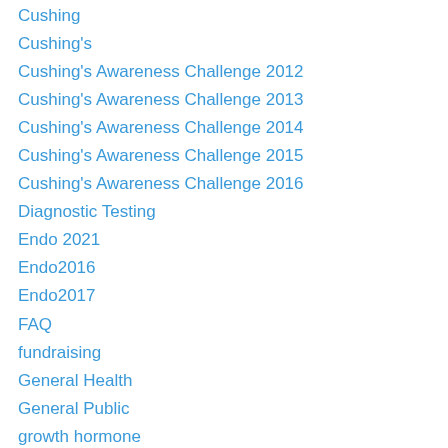Cushing
Cushing's
Cushing's Awareness Challenge 2012
Cushing's Awareness Challenge 2013
Cushing's Awareness Challenge 2014
Cushing's Awareness Challenge 2015
Cushing's Awareness Challenge 2016
Diagnostic Testing
Endo 2021
Endo2016
Endo2017
FAQ
fundraising
General Health
General Public
growth hormone
Health Care
Helpful Doctors
Humor
Inspiration